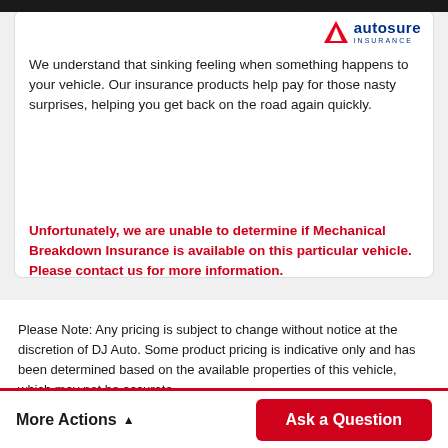Mechanical Breakdown Insurance
[Figure (logo): Autosure Insurance logo with red triangle/A symbol and blue text reading 'autosure INSURANCE']
We understand that sinking feeling when something happens to your vehicle. Our insurance products help pay for those nasty surprises, helping you get back on the road again quickly.
Unfortunately, we are unable to determine if Mechanical Breakdown Insurance is available on this particular vehicle. Please contact us for more information.
Please Note: Any pricing is subject to change without notice at the discretion of DJ Auto. Some product pricing is indicative only and has been determined based on the available properties of this vehicle, which may not be accurate.
More Actions
Ask a Question